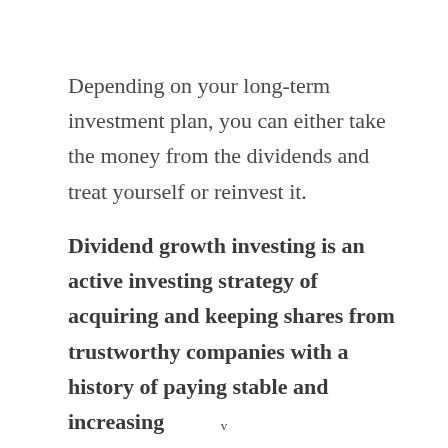Depending on your long-term investment plan, you can either take the money from the dividends and treat yourself or reinvest it.
Dividend growth investing is an active investing strategy of acquiring and keeping shares from trustworthy companies with a history of paying stable and increasing
v